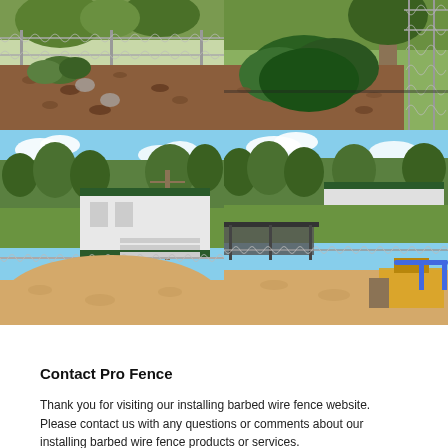[Figure (photo): Four photographs in a 2x2 grid showing chain-link fence installations. Top-left: residential backyard chain-link fence with garden beds and mulch. Top-right: close-up of chain-link fence corner with shrubs and mulch. Bottom-left: sports field/baseball diamond with chain-link fence, bleachers, and a white building in background. Bottom-right: sports field baseball diamond aerial view with chain-link fence, dugout covers, and construction equipment visible.]
Contact Pro Fence
Thank you for visiting our installing barbed wire fence website. Please contact us with any questions or comments about our installing barbed wire fence products or services.